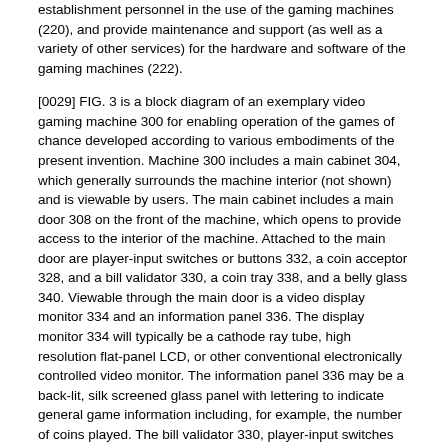establishment personnel in the use of the gaming machines (220), and provide maintenance and support (as well as a variety of other services) for the hardware and software of the gaming machines (222).
[0029] FIG. 3 is a block diagram of an exemplary video gaming machine 300 for enabling operation of the games of chance developed according to various embodiments of the present invention. Machine 300 includes a main cabinet 304, which generally surrounds the machine interior (not shown) and is viewable by users. The main cabinet includes a main door 308 on the front of the machine, which opens to provide access to the interior of the machine. Attached to the main door are player-input switches or buttons 332, a coin acceptor 328, and a bill validator 330, a coin tray 338, and a belly glass 340. Viewable through the main door is a video display monitor 334 and an information panel 336. The display monitor 334 will typically be a cathode ray tube, high resolution flat-panel LCD, or other conventional electronically controlled video monitor. The information panel 336 may be a back-lit, silk screened glass panel with lettering to indicate general game information including, for example, the number of coins played. The bill validator 330, player-input switches 332, video display monitor 334, and information panel are devices used to play a game on the game machine 300.
[0030] The various device and functionalities of gaming machine 300 devices are controlled by circuitry (not shown) housed inside the main